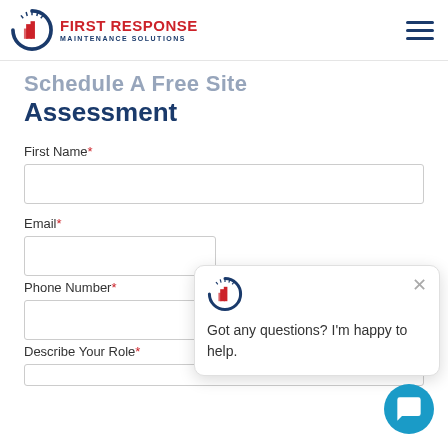First Response Maintenance Solutions
Schedule A Free Site Assessment
First Name*
Email*
Phone Number*
Describe Your Role*
[Figure (screenshot): Chat popup widget with company logo, close button, and text: Got any questions? I'm happy to help.]